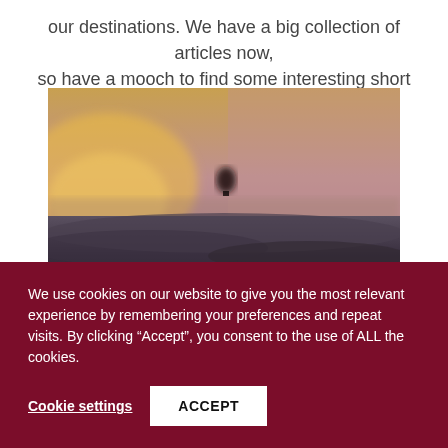our destinations. We have a big collection of articles now, so have a mooch to find some interesting short reads.
[Figure (photo): Blurred photograph of a hot air balloon silhouetted against a colorful sunset sky over a flat landscape.]
We use cookies on our website to give you the most relevant experience by remembering your preferences and repeat visits. By clicking “Accept”, you consent to the use of ALL the cookies.
Cookie settings   ACCEPT